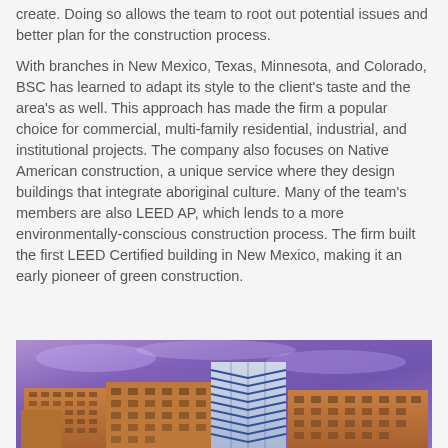create. Doing so allows the team to root out potential issues and better plan for the construction process.
With branches in New Mexico, Texas, Minnesota, and Colorado, BSC has learned to adapt its style to the client's taste and the area's as well. This approach has made the firm a popular choice for commercial, multi-family residential, industrial, and institutional projects. The company also focuses on Native American construction, a unique service where they design buildings that integrate aboriginal culture. Many of the team's members are also LEED AP, which lends to a more environmentally-conscious construction process. The firm built the first LEED Certified building in New Mexico, making it an early pioneer of green construction.
[Figure (photo): Photograph of a commercial building complex with warm terracotta/orange tones and a central glass tower with chevron pattern, set against a vibrant purple/violet sky.]